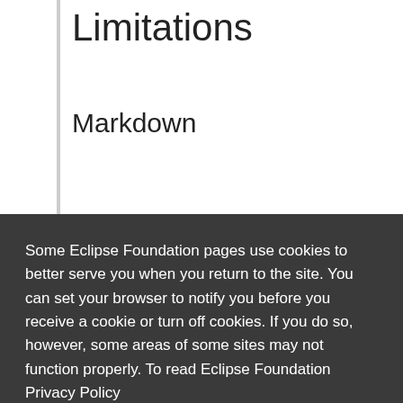Limitations
Markdown
Some Eclipse Foundation pages use cookies to better serve you when you return to the site. You can set your browser to notify you before you receive a cookie or turn off cookies. If you do so, however, some areas of some sites may not function properly. To read Eclipse Foundation Privacy Policy click here.
Decline
Allow cookies
When you have a comment block related to a concept